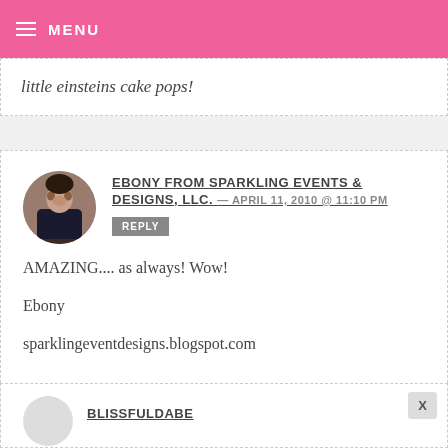MENU
little einsteins cake pops!
EBONY FROM SPARKLING EVENTS & DESIGNS, LLC. — APRIL 11, 2010 @ 11:10 PM
REPLY

AMAZING.... as always! Wow!

Ebony

sparklingeventdesigns.blogspot.com
BLISSFULDABE